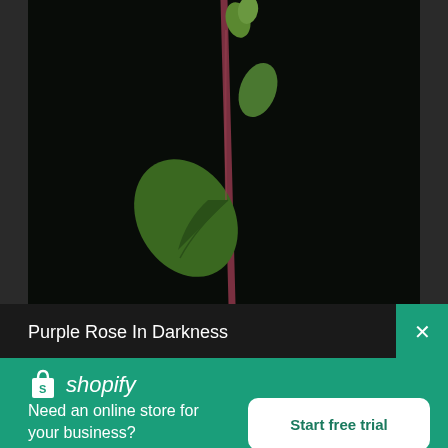[Figure (photo): Close-up photo of a rose stem with green leaves against a dark/black background. The stem is reddish-purple and shows young foliage.]
Purple Rose In Darkness
[Figure (logo): Shopify logo — white shopping bag icon with 'shopify' text in white italic font]
Need an online store for your business?
Start free trial